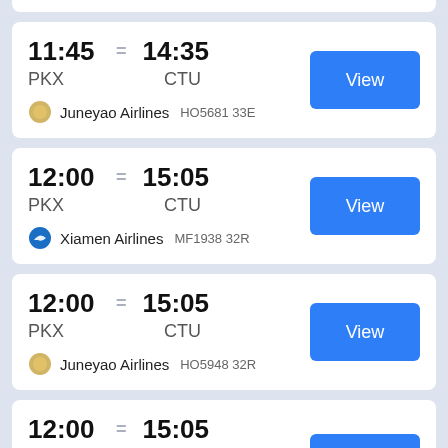11:45 PKX → 14:35 CTU | Juneyao Airlines HO5681 33E | View
12:00 PKX → 15:05 CTU | Xiamen Airlines MF1938 32R | View
12:00 PKX → 15:05 CTU | Juneyao Airlines HO5948 32R | View
12:00 PKX → 15:05 CTU | China Southern Airlines CZ6183 32R | View
12:00 PKX → 15:05 CTU | View (partial)